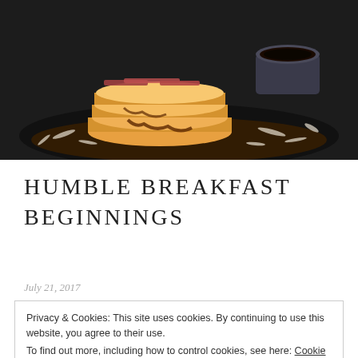[Figure (photo): Overhead photo of a stack of pancakes with bacon and toppings on a dark plate, with syrup in a small dark bowl, and grated coconut scattered around]
HUMBLE BREAKFAST BEGINNINGS
July 21, 2017
Privacy & Cookies: This site uses cookies. By continuing to use this website, you agree to their use.
To find out more, including how to control cookies, see here: Cookie Policy
Close and accept
presentation and thankfully no desire in quality nor quantity of